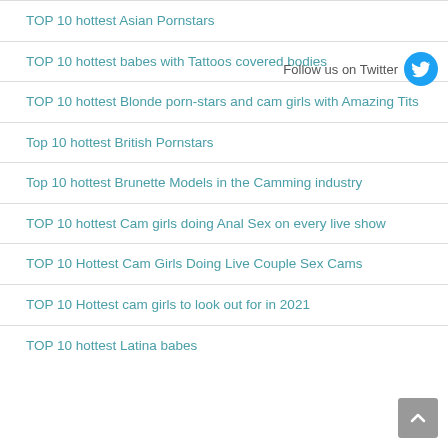TOP 10 hottest Asian Pornstars
TOP 10 hottest babes with Tattoos covered bodies
TOP 10 hottest Blonde porn-stars and cam girls with Amazing Tits
Top 10 hottest British Pornstars
Top 10 hottest Brunette Models in the Camming industry
TOP 10 hottest Cam girls doing Anal Sex on every live show
TOP 10 Hottest Cam Girls Doing Live Couple Sex Cams
TOP 10 Hottest cam girls to look out for in 2021
TOP 10 hottest Latina babes